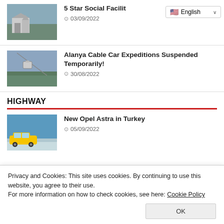[Figure (photo): Aerial/hillside view of a building and landscape]
5 Star Social Facilit…
03/09/2022
[Figure (photo): Cable car over a coastal city with mountains]
Alanya Cable Car Expeditions Suspended Temporarily!
30/08/2022
HIGHWAY
[Figure (photo): Yellow Opel Astra car on a beach road]
New Opel Astra in Turkey
05/09/2022
Privacy and Cookies: This site uses cookies. By continuing to use this website, you agree to their use.
For more information on how to check cookies, see here: Cookie Policy
OK